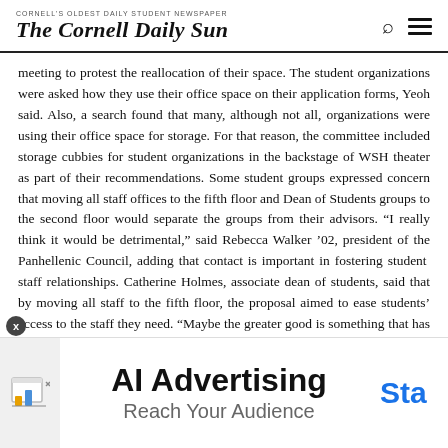The Cornell Daily Sun
meeting to protest the reallocation of their space. The student organizations were asked how they use their office space on their application forms, Yeoh said. Also, a search found that many, although not all, organizations were using their office space for storage. For that reason, the committee included storage cubbies for student organizations in the backstage of WSH theater as part of their recommendations. Some student groups expressed concern that moving all staff offices to the fifth floor and Dean of Students groups to the second floor would separate the groups from their advisors. “I really think it would be detrimental,” said Rebecca Walker ’02, president of the Panhellenic Council, adding that contact is important in fostering student staff relationships. Catherine Holmes, associate dean of students, said that by moving all staff to the fifth floor, the proposal aimed to ease students’ access to the staff they need. “Maybe the greater good is something that has to be considered,” Holmes told the S.A. The Assembly voted on whether or not to support the committee’s report in its current form, and Tang, a member of the committee, was the only student to vote in favor of the recommendations. “We really need to know what it is you’re voting down,” Yeoh said,
[Figure (infographic): AI Advertising banner ad with text 'AI Advertising' and 'Reach Your Audience' and 'Sta' (Start) CTA button, with a small bar chart icon on the left.]